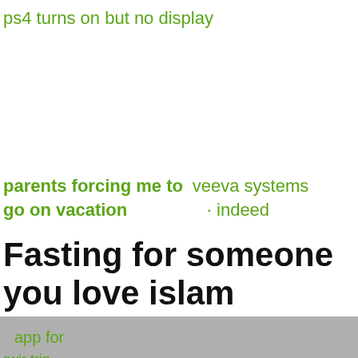ps4 turns on but no display
parents forcing me to go on vacation
veeva systems indeed
Fasting for someone you love islam
3. Greet when you meet someone. Greeting someone will make her know that you care and remember her. Of course, every person wants to be remembered and cared by her friends. By
rwir trip
app for